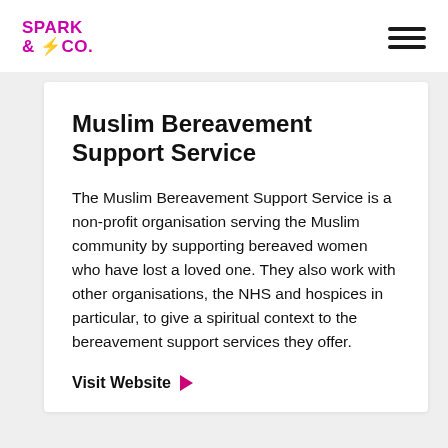SPARK & CO.
Muslim Bereavement Support Service
The Muslim Bereavement Support Service is a non-profit organisation serving the Muslim community by supporting bereaved women who have lost a loved one. They also work with other organisations, the NHS and hospices in particular, to give a spiritual context to the bereavement support services they offer.
Visit Website ▶